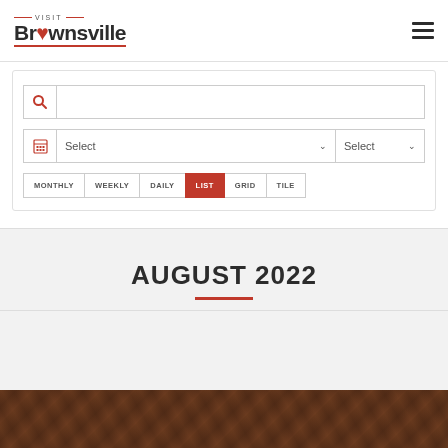[Figure (logo): Visit Brownsville logo with heart symbol]
[Figure (screenshot): Hamburger menu icon (three horizontal lines)]
[Figure (screenshot): Search bar with magnifying glass icon]
[Figure (screenshot): Filter row with calendar icon and two Select dropdowns]
[Figure (screenshot): View toggle tabs: MONTHLY, WEEKLY, DAILY, LIST (active/red), GRID, TILE]
AUGUST 2022
[Figure (photo): Partial food/event photo at bottom of page, warm brown tones]